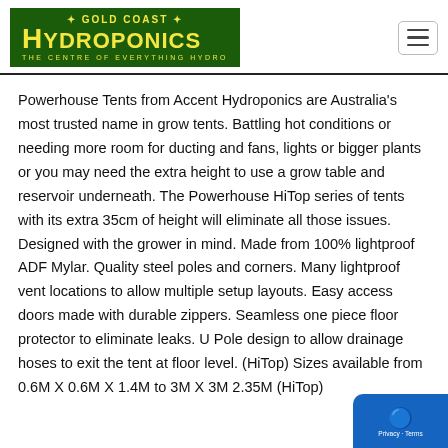[Figure (logo): Gold Coast Hydroponics logo — dark green background with yellow text reading 'GOLD COAST HYDROPONICS THE CENTRE OF EVERYTHING HYDRO']
Powerhouse Tents from Accent Hydroponics are Australia's most trusted name in grow tents. Battling hot conditions or needing more room for ducting and fans, lights or bigger plants or you may need the extra height to use a grow table and reservoir underneath. The Powerhouse HiTop series of tents with its extra 35cm of height will eliminate all those issues. Designed with the grower in mind. Made from 100% lightproof ADF Mylar. Quality steel poles and corners. Many lightproof vent locations to allow multiple setup layouts. Easy access doors made with durable zippers. Seamless one piece floor protector to eliminate leaks. U Pole design to allow drainage hoses to exit the tent at floor level. (HiTop) Sizes available from 0.6M X 0.6M X 1.4M to 3M X 3M 2.35M (HiTop)